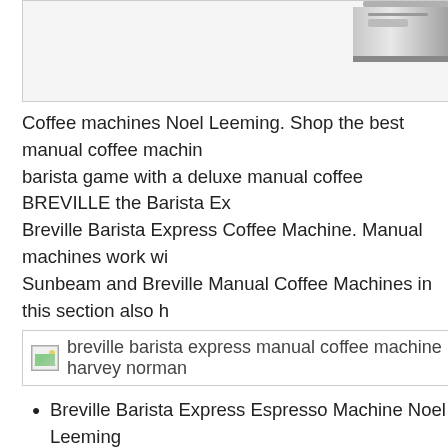[Figure (photo): Partial top view of a Breville coffee machine, silver/stainless steel body, top portion visible against white background, inside a bordered box]
Coffee machines Noel Leeming. Shop the best manual coffee machin... barista game with a deluxe manual coffee BREVILLE the Barista Ex... Breville Barista Express Coffee Machine. Manual machines work wi... Sunbeam and Breville Manual Coffee Machines in this section also h...
[Figure (photo): Image placeholder with alt text: breville barista express manual coffee machine harvey norman]
Breville Barista Express Espresso Machine Noel Leeming
Breville BES920 Dual Boiler Coffee Machine $798 ($698
Use the Breville Barista Express Manual Coffee Machine to quickly... Breville Barista Express Manual Coffee Machine to quickly and easi... "harvey norman breville blender Style Electronic Coffee Machine le... delicious latte like a barista,